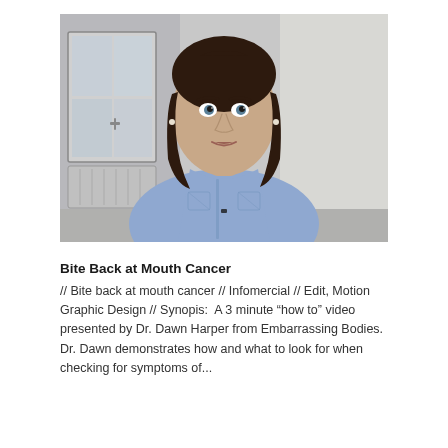[Figure (photo): A woman with dark brown straight hair wearing a light blue/lavender button-up shirt speaking to camera. She is seated in front of a room interior with a window and radiator on the left and a plain wall on the right. A small microphone is clipped to her shirt.]
Bite Back at Mouth Cancer
// Bite back at mouth cancer // Infomercial // Edit, Motion Graphic Design // Synopis:  A 3 minute “how to” video presented by Dr. Dawn Harper from Embarrassing Bodies. Dr. Dawn demonstrates how and what to look for when checking for symptoms of...